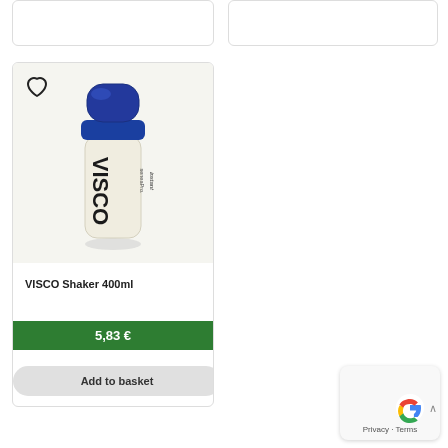[Figure (screenshot): Top partial product card (left), cropped at top]
[Figure (screenshot): Top partial product card (right), cropped at top]
[Figure (photo): VISCO Shaker 400ml product image - cream/beige shaker bottle with blue cap, branded 'seneaPro. VISCO instant']
VISCO Shaker 400ml
5,83 €
Add to basket
[Figure (other): Google reCAPTCHA / Privacy badge with Privacy · Terms text]